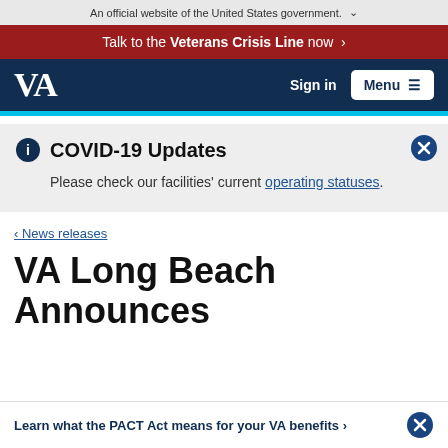An official website of the United States government. ▾
Talk to the Veterans Crisis Line now ›
VA | Sign in | Menu
COVID-19 Updates
Please check our facilities' current operating statuses.
‹ News releases
VA Long Beach Announces
Learn what the PACT Act means for your VA benefits ›